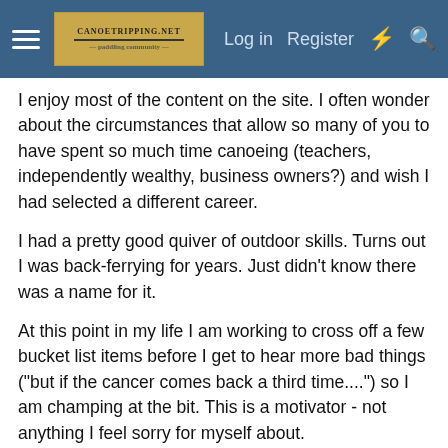Log in  Register
I enjoy most of the content on the site. I often wonder about the circumstances that allow so many of you to have spent so much time canoeing (teachers, independently wealthy, business owners?) and wish I had selected a different career.
I had a pretty good quiver of outdoor skills. Turns out I was back-ferrying for years. Just didn't know there was a name for it.
At this point in my life I am working to cross off a few bucket list items before I get to hear more bad things ("but if the cancer comes back a third time....") so I am champing at the bit. This is a motivator - not anything I feel sorry for myself about.
Since Mr. Cancer has allowed me some additional time on my hands where longer trips were not an option, I just decided to re-outfit myself. I have received a TON of very helpful information here. Starting with the helpful advice of CEW to purchase my canoes, right on through the gear list you folks have helped a great deal, and I thank you all. I have assembled a kit that I am